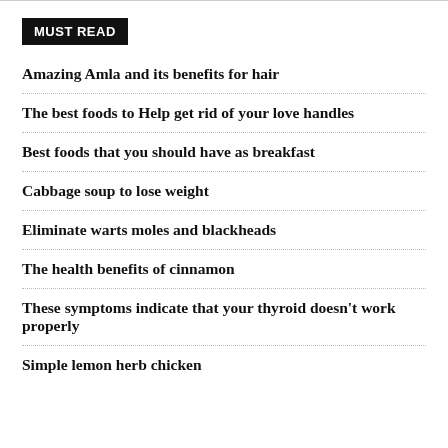MUST READ
Amazing Amla and its benefits for hair
The best foods to Help get rid of your love handles
Best foods that you should have as breakfast
Cabbage soup to lose weight
Eliminate warts moles and blackheads
The health benefits of cinnamon
These symptoms indicate that your thyroid doesn't work properly
Simple lemon herb chicken